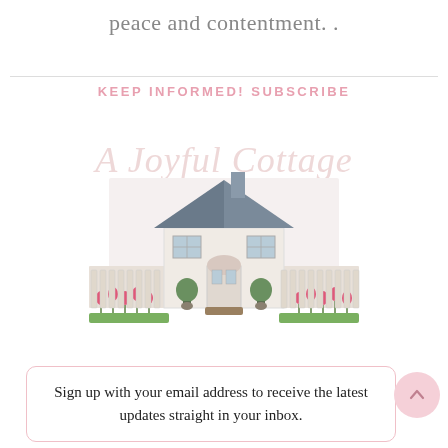peace and contentment. .
KEEP INFORMED! SUBSCRIBE
[Figure (illustration): A Joyful Cottage logo with watercolor illustration of a white cottage house with dark roof, pink tulips and green topiaries in front of a white picket fence.]
Sign up with your email address to receive the latest updates straight in your inbox.